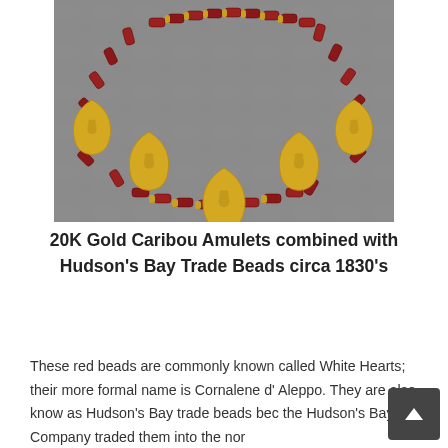[Figure (photo): A necklace made of dark red cylindrical trade beads (White Hearts / Cornalene d'Aleppo) strung together with small gold spacer beads, and five teardrop-shaped 20K gold caribou amulets hanging from the front, photographed on a grey stone surface.]
20K Gold Caribou Amulets combined with Hudson's Bay Trade Beads circa 1830's
These red beads are commonly known called White Hearts; their more formal name is Cornalene d' Aleppo. They are also know as Hudson's Bay trade beads bec the Hudson's Bay Company traded them into the nor